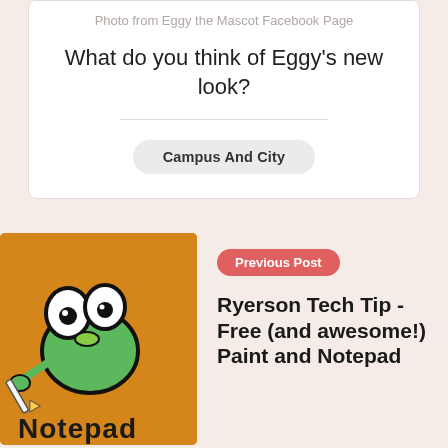Photo from Eggy the Mascot Facebook Page
What do you think of Eggy's new look?
Campus And City
[Figure (illustration): Cartoon green frog character holding a pencil, on an orange background, with text 'Notepad' partially visible at the bottom]
Previous Post
Ryerson Tech Tip - Free (and awesome!) Paint and Notepad